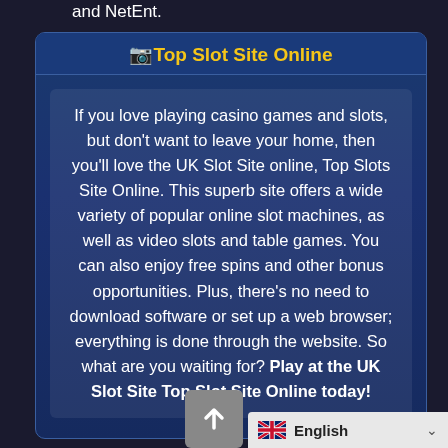and NetEnt.
Top Slot Site Online
If you love playing casino games and slots, but don't want to leave your home, then you'll love the UK Slot Site online, Top Slots Site Online. This superb site offers a wide variety of popular online slot machines, as well as video slots and table games. You can also enjoy free spins and other bonus opportunities. Plus, there's no need to download software or set up a web browser; everything is done through the website. So what are you waiting for? Play at the UK Slot Site Top Slot Site Online today!